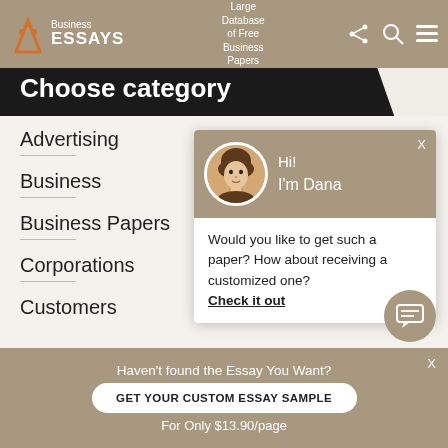Business ESSAYS — Large Database of Free Business Papers
Choose category
Advertising
Business
Business Papers
Corporations
Customers
[Figure (screenshot): Chat popup with avatar of Dana. Header says 'Hi! I'm Dana'. Body says 'Would you like to get such a paper? How about receiving a customized one? Check it out']
Haven't found the Essay You Want? GET YOUR CUSTOM ESSAY SAMPLE For Only $13.90/page